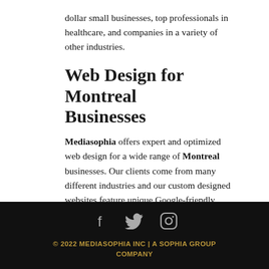dollar small businesses, top professionals in healthcare, and companies in a variety of other industries.
Web Design for Montreal Businesses
Mediasophia offers expert and optimized web design for a wide range of Montreal businesses. Our clients come from many different industries and our custom designed websites feature unique Google-friendly written content, mobile/smartphone adaptability, custom blogs and many other important features that bring success in a competitive marketplace. Each of our websites is created to distinguish our clients from competitors and to maximize sales conversions.
© 2022 MEDIASOPHIA INC | A SOPHIA GROUP COMPANY